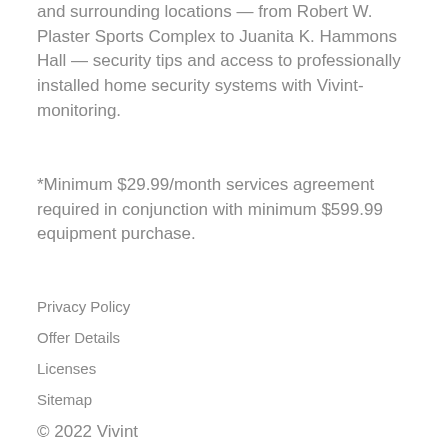and surrounding locations — from Robert W. Plaster Sports Complex to Juanita K. Hammons Hall — security tips and access to professionally installed home security systems with Vivint-monitoring.
*Minimum $29.99/month services agreement required in conjunction with minimum $599.99 equipment purchase.
Privacy Policy
Offer Details
Licenses
Sitemap
© 2022 Vivint